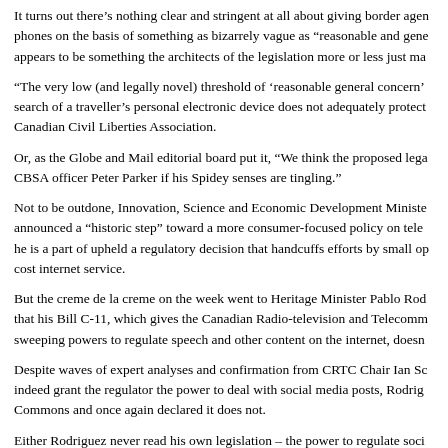It turns out there's nothing clear and stringent at all about giving border agents access to phones on the basis of something as bizarrely vague as "reasonable and gene... appears to be something the architects of the legislation more or less just ma...
"The very low (and legally novel) threshold of 'reasonable general concern'... search of a traveller's personal electronic device does not adequately protect... Canadian Civil Liberties Association.
Or, as the Globe and Mail editorial board put it, "We think the proposed lega... CBSA officer Peter Parker if his Spidey senses are tingling."
Not to be outdone, Innovation, Science and Economic Development Ministe... announced a "historic step" toward a more consumer-focused policy on tele... he is a part of upheld a regulatory decision that handcuffs efforts by small op... cost internet service.
But the creme de la creme on the week went to Heritage Minister Pablo Rod... that his Bill C-11, which gives the Canadian Radio-television and Telecomm... sweeping powers to regulate speech and other content on the internet, doesn...
Despite waves of expert analyses and confirmation from CRTC Chair Ian Sc... indeed grant the regulator the power to deal with social media posts, Rodrig... Commons and once again declared it does not.
Either Rodriguez never read his own legislation – the power to regulate soci... black and white – or he is intentionally saying things that aren't true.
If disinformation and misinformation are undermining Canadians' faith in th...